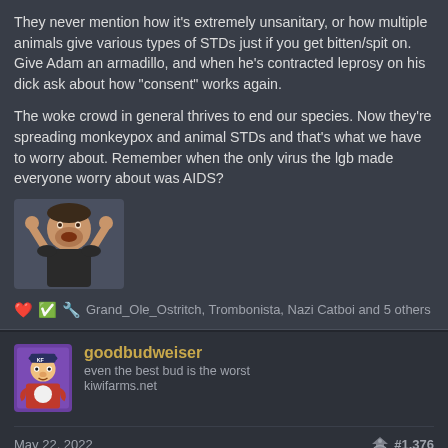They never mention how it's extremely unsanitary, or how multiple animals give various types of STDs just if you get bitten/spit on. Give Adam an armadillo, and when he's contracted leprosy on his dick ask about how "consent" works again.

The woke crowd in general thrives to end our species. Now they're spreading monkeypox and animal STDs and that's what we have to worry about. Remember when the only virus the lgb made everyone worry about was AIDS?
[Figure (photo): A man with hands on his head in a shocked/stressed expression, wearing a dark sleeveless shirt, small circular photo]
Grand_Ole_Ostritch, Trombonista, Nazi Catboi and 5 others
[Figure (photo): User avatar for goodbudweiser - cartoon/illustration style image with purple/dark background]
goodbudweiser
even the best bud is the worst
kiwifarms.net
May 22, 2022
#1,376